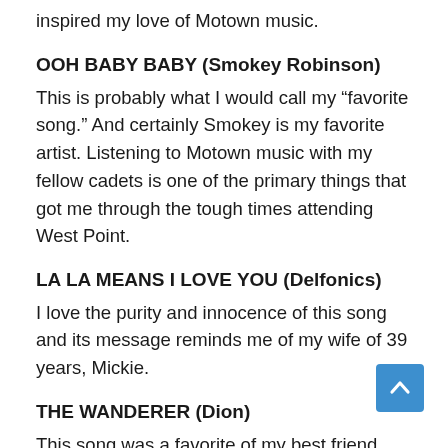inspired my love of Motown music.
OOH BABY BABY (Smokey Robinson)
This is probably what I would call my “favorite song.” And certainly Smokey is my favorite artist. Listening to Motown music with my fellow cadets is one of the primary things that got me through the tough times attending West Point.
LA LA MEANS I LOVE YOU (Delfonics)
I love the purity and innocence of this song and its message reminds me of my wife of 39 years, Mickie.
THE WANDERER (Dion)
This song was a favorite of my best friend